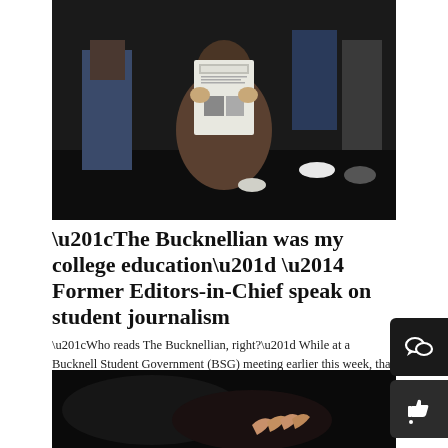[Figure (photo): Black and white photo of a group of people, one person crouching in front holding up a copy of The Bucknellian newspaper. Several people standing behind them.]
“The Bucknellian was my college education” — Former Editors-in-Chief speak on student journalism
“Who reads The Bucknellian, right?” While at a Bucknell Student Government (BSG) meeting earlier this week, that was the pitch that I made for people to apply for...
[Figure (photo): Dark photo, partially visible, showing a person on a dark background with some light on their hands.]